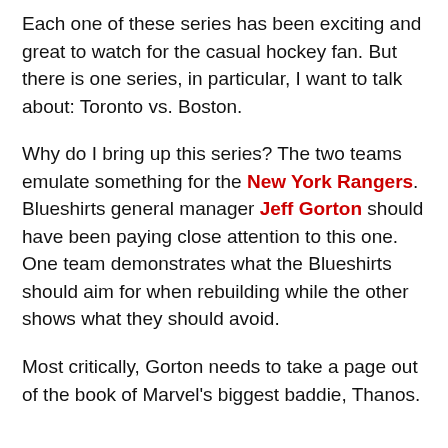Each one of these series has been exciting and great to watch for the casual hockey fan. But there is one series, in particular, I want to talk about: Toronto vs. Boston.
Why do I bring up this series? The two teams emulate something for the New York Rangers. Blueshirts general manager Jeff Gorton should have been paying close attention to this one. One team demonstrates what the Blueshirts should aim for when rebuilding while the other shows what they should avoid.
Most critically, Gorton needs to take a page out of the book of Marvel's biggest baddie, Thanos.